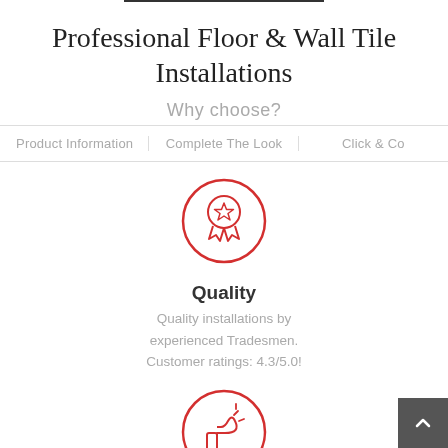Professional Floor & Wall Tile Installations
Why choose?
Product Information | Complete The Look | Click & Co
[Figure (illustration): Red circle outline containing a ribbon/award badge icon with a star in the center]
Quality
Quality installations by experienced Tradesmen. Customer ratings: 4.3/5.0!
[Figure (illustration): Red circle outline containing a thumbs up icon with small lines indicating motion]